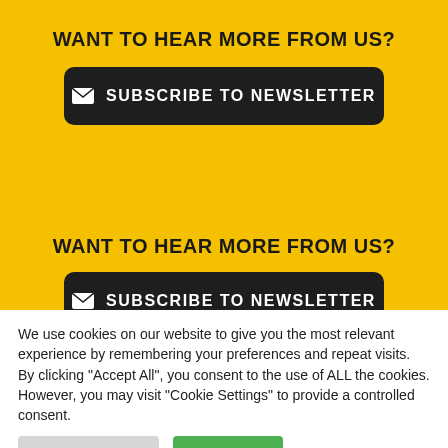WANT TO HEAR MORE FROM US?
[Figure (other): Dark rounded button with envelope icon and text SUBSCRIBE TO NEWSLETTER]
WANT TO HEAR MORE FROM US?
[Figure (other): Dark button (partially visible) with envelope icon and text SUBSCRIBE TO NEWSLETTER]
We use cookies on our website to give you the most relevant experience by remembering your preferences and repeat visits. By clicking "Accept All", you consent to the use of ALL the cookies. However, you may visit "Cookie Settings" to provide a controlled consent.
Cookie Settings
Accept All